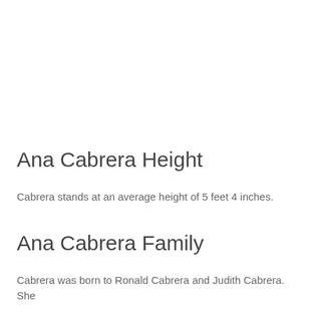Ana Cabrera Height
Cabrera stands at an average height of 5 feet 4 inches.
Ana Cabrera Family
Cabrera was born to Ronald Cabrera and Judith Cabrera. She